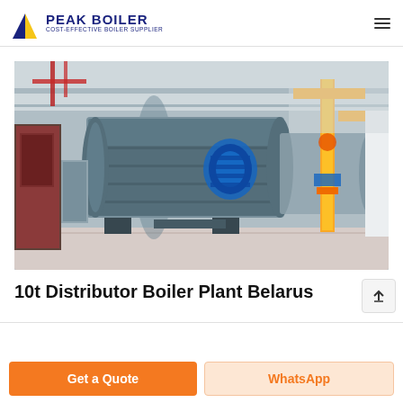PEAK BOILER COST-EFFECTIVE BOILER SUPPLIER
[Figure (photo): Industrial boiler plant interior showing large horizontal gas/oil fired steam boilers with yellow pipes, blue burner components, and concrete flooring in a factory setting in Belarus]
10t Distributor Boiler Plant Belarus
Get a Quote
WhatsApp